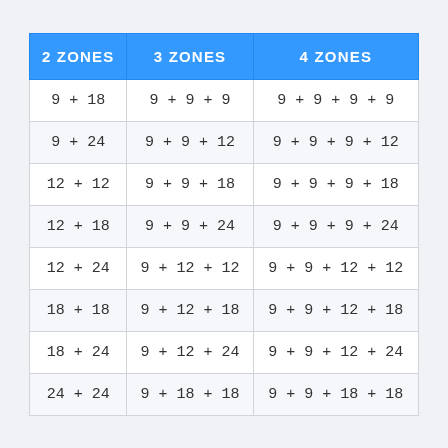| 2 ZONES | 3 ZONES | 4 ZONES |
| --- | --- | --- |
| 9 + 18 | 9 + 9 + 9 | 9 + 9 + 9 + 9 |
| 9 + 24 | 9 + 9 + 12 | 9 + 9 + 9 + 12 |
| 12 + 12 | 9 + 9 + 18 | 9 + 9 + 9 + 18 |
| 12 + 18 | 9 + 9 + 24 | 9 + 9 + 9 + 24 |
| 12 + 24 | 9 + 12 + 12 | 9 + 9 + 12 + 12 |
| 18 + 18 | 9 + 12 + 18 | 9 + 9 + 12 + 18 |
| 18 + 24 | 9 + 12 + 24 | 9 + 9 + 12 + 24 |
| 24 + 24 | 9 + 18 + 18 | 9 + 9 + 18 + 18 |